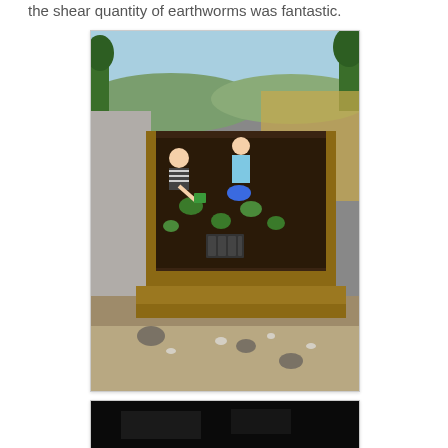the shear quantity of earthworms was fantastic.
[Figure (photo): Outdoor raised garden beds with dark soil, seedlings planted, wooden frame borders. Two people working in the background among additional raised beds. Sunny day with hills and trees in the distance.]
[Figure (photo): Partially visible dark image at the bottom of the page, contents not clearly discernible.]